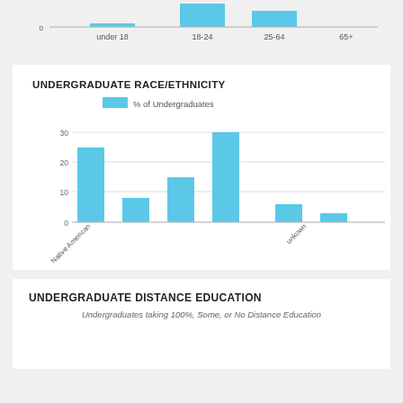[Figure (bar-chart): (partial top chart)]
[Figure (bar-chart): UNDERGRADUATE RACE/ETHNICITY]
UNDERGRADUATE DISTANCE EDUCATION
Undergraduates taking 100%, Some, or No Distance Education